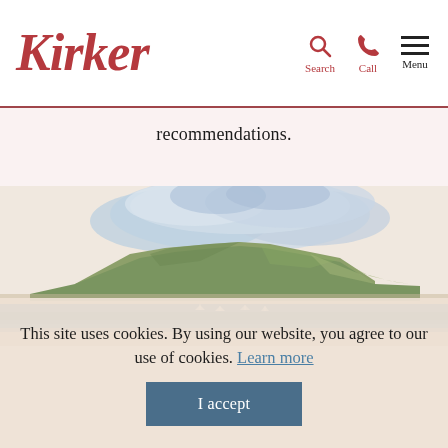Kirker — Search, Call, Menu
recommendations.
[Figure (illustration): Watercolour illustration of Table Mountain, Cape Town, with blue water in the foreground and clouds overhead]
This site uses cookies. By using our website, you agree to our use of cookies. Learn more
I accept